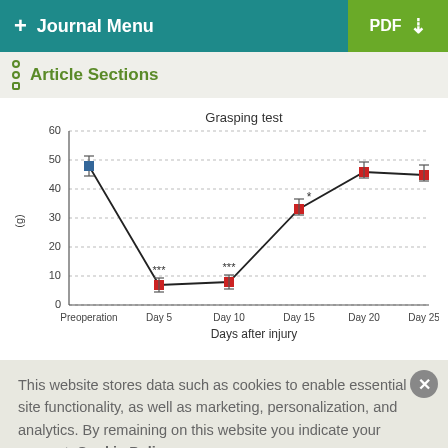+ Journal Menu  PDF ↓
Article Sections
[Figure (line-chart): Grasping test]
This website stores data such as cookies to enable essential site functionality, as well as marketing, personalization, and analytics. By remaining on this website you indicate your consent. Cookie Policy